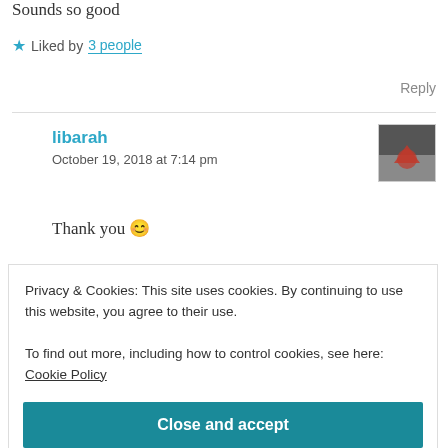Sounds so good
★ Liked by 3 people
Reply
libarah
October 19, 2018 at 7:14 pm
[Figure (photo): Small thumbnail avatar image showing a heart shape]
Thank you 😊
Privacy & Cookies: This site uses cookies. By continuing to use this website, you agree to their use. To find out more, including how to control cookies, see here: Cookie Policy
Close and accept